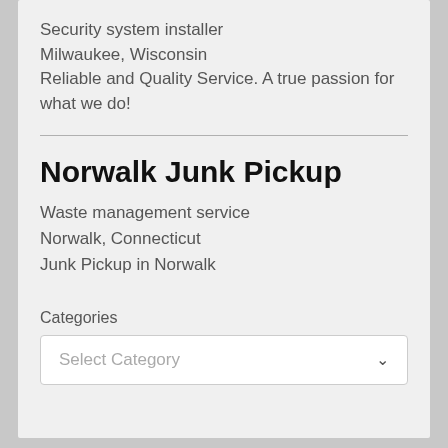Security system installer
Milwaukee, Wisconsin
Reliable and Quality Service. A true passion for what we do!
Norwalk Junk Pickup
Waste management service
Norwalk, Connecticut
Junk Pickup in Norwalk
Categories
Select Category